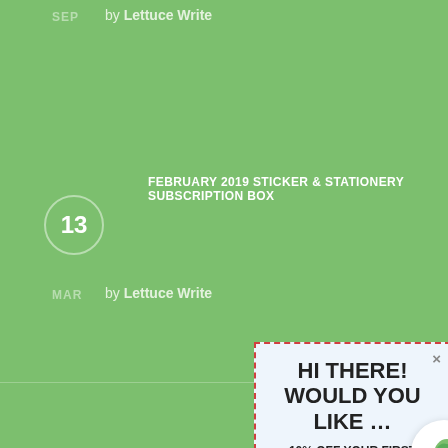SEP   by Lettuce Write
13   MAR   FEBRUARY 2019 STICKER & STATIONERY SUBSCRIPTION BOX   by Lettuce Write
Copyright 2019   Privacy Policy
[Figure (screenshot): Popup modal overlay with dashed red border on light blue background. Title: HI THERE! WOULD YOU LIKE ... Subtitle: 10% OFF YOUR FIRST ORDER? Body: Become an email VIP member to get 10% off your first order PLUS exclusive early-bird access to FLASH SALES, giveaways and inspirations. Email input field. Close X button. Questions? chat bubble. Green bird chat button.]
HI THERE! WOULD YOU LIKE ...
10% OFF YOUR FIRST ORDER?
Become an email VIP member to get 10% off your first order PLUS exclusive early-bird access to FLASH SALES, giveaways and inspirations.
Your email address
Questions?